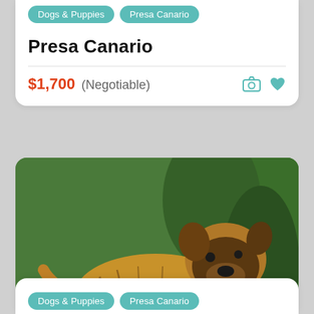Dogs & Puppies
Presa Canario
Presa Canario
$1,700 (Negotiable)
[Figure (photo): A Presa Canario puppy standing on a blue tarp with green plants and foliage in the background. The puppy is tan/brindle colored with a dark face mask.]
Dogs & Puppies
Presa Canario